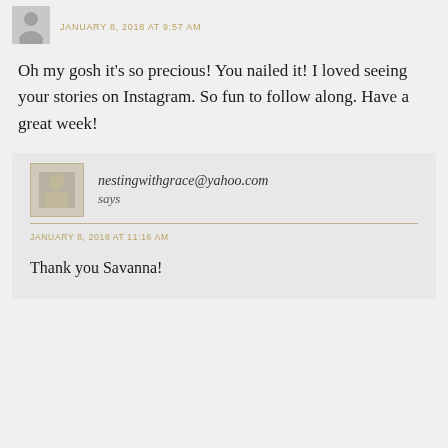JANUARY 8, 2018 AT 9:57 AM
Oh my gosh it's so precious! You nailed it! I loved seeing your stories on Instagram. So fun to follow along. Have a great week!
nestingwithgrace@yahoo.com says
JANUARY 8, 2018 AT 11:16 AM
Thank you Savanna!